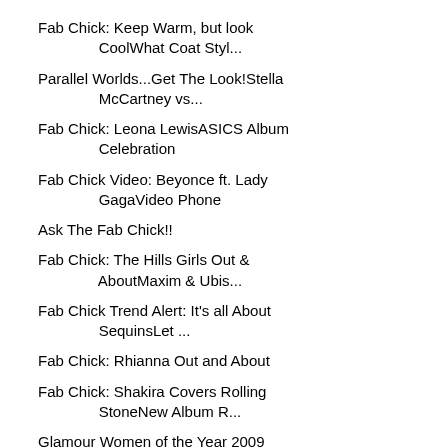Fab Chick: Keep Warm, but look CoolWhat Coat Styl...
Parallel Worlds...Get The Look!Stella McCartney vs...
Fab Chick: Leona LewisASICS Album Celebration
Fab Chick Video: Beyonce ft. Lady GagaVideo Phone
Ask The Fab Chick!!
Fab Chick: The Hills Girls Out & AboutMaxim & Ubis...
Fab Chick Trend Alert: It's all About SequinsLet ...
Fab Chick: Rhianna Out and About
Fab Chick: Shakira Covers Rolling StoneNew Album R...
Glamour Women of the Year 2009
Fab Chick: Amerie's Photoshoot with Elle Magazine
MTV 2009 Europe AwardsRed Carpet
Fab Chick Trend Alert: Fur VestsThe Fluffier the B...